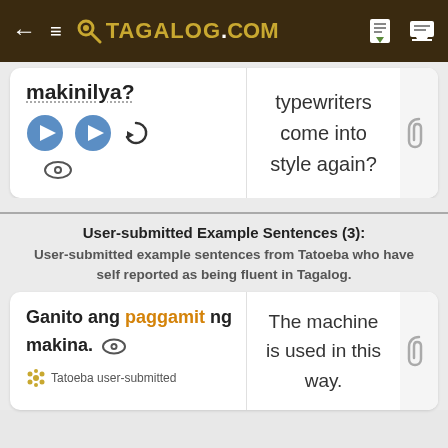← ≡ 🔑 TAGALOG.COM
makinilya?
typewriters come into style again?
User-submitted Example Sentences (3): User-submitted example sentences from Tatoeba who have self reported as being fluent in Tagalog.
Ganito ang paggamit ng makina.
The machine is used in this way.
Tatoeba user-submitted